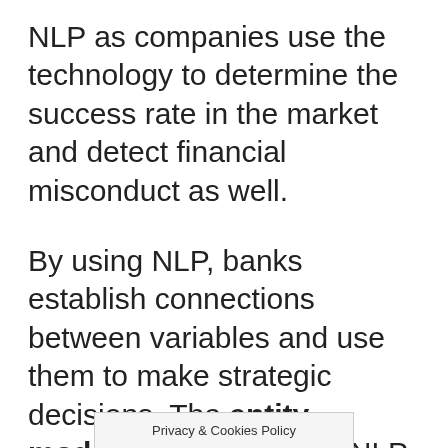NLP as companies use the technology to determine the success rate in the market and detect financial misconduct as well.
By using NLP, banks establish connections between variables and use them to make strategic decisions. The entity modeling system from NLP has made relationships between variables convenient as banks can determine [obscured] affecting their